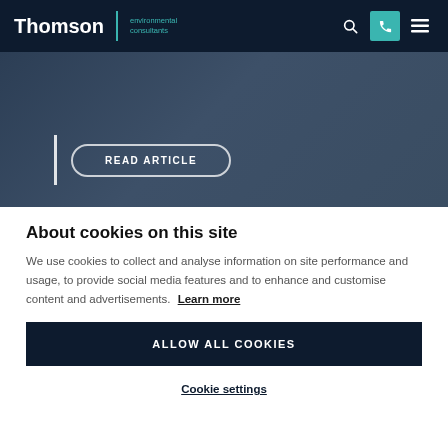Thomson | environmental consultants
[Figure (screenshot): Dark blue-grey hero image section with a vertical white bar and a 'READ ARTICLE' button with rounded border outline in white]
About cookies on this site
We use cookies to collect and analyse information on site performance and usage, to provide social media features and to enhance and customise content and advertisements. Learn more
ALLOW ALL COOKIES
Cookie settings